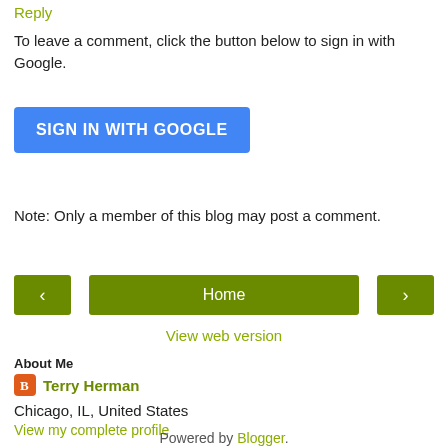Reply
To leave a comment, click the button below to sign in with Google.
[Figure (other): Blue 'SIGN IN WITH GOOGLE' button]
Note: Only a member of this blog may post a comment.
[Figure (other): Navigation bar with left arrow button, Home button, and right arrow button]
View web version
About Me
Terry Herman
Chicago, IL, United States
View my complete profile
Powered by Blogger.